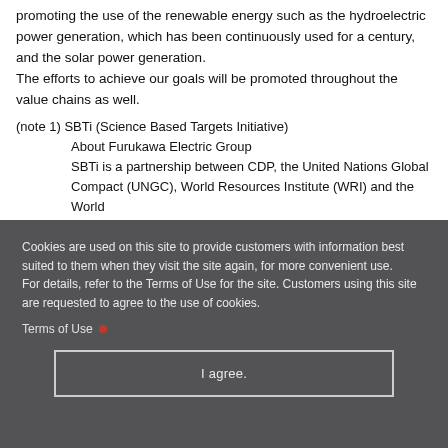promoting the use of the renewable energy such as the hydroelectric power generation, which has been continuously used for a century, and the solar power generation. The efforts to achieve our goals will be promoted throughout the value chains as well.
(note 1) SBTi (Science Based Targets Initiative) About Furukawa Electric Group SBTi is a partnership between CDP, the United Nations Global Compact (UNGC), World Resources Institute (WRI) and the World
Cookies are used on this site to provide customers with information best suited to them when they visit the site again, for more convenient use. For details, refer to the Terms of Use for the site. Customers using this site are requested to agree to the use of cookies.
Terms of Use
I agree.